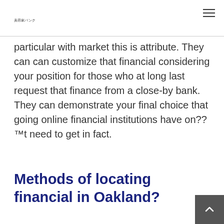美容家バンク
particular with market this is attribute. They can can customize that financial considering your position for those who at long last request that finance from a close-by bank. They can demonstrate your final choice that going online financial institutions have on??™t need to get in fact.
Methods of locating financial in Oakland?